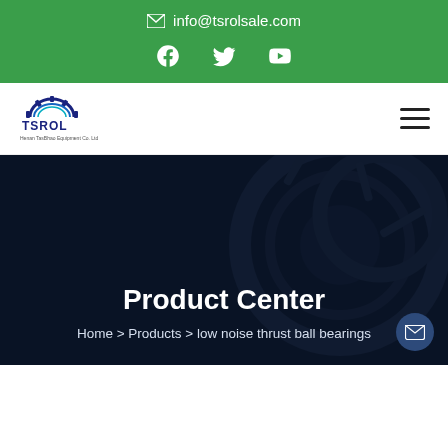info@tsrolsale.com
[Figure (logo): TSROL logo with gear icon and text 'Henan TasBhao Equipment Co. Ltd']
Product Center
Home > Products > low noise thrust ball bearings